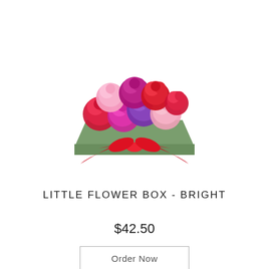[Figure (photo): A small green square flower box filled with colorful carnations in red, purple, magenta/hot pink, and light pink. The box is tied with a red satin ribbon bow at the front.]
LITTLE FLOWER BOX - BRIGHT
$42.50
Order Now